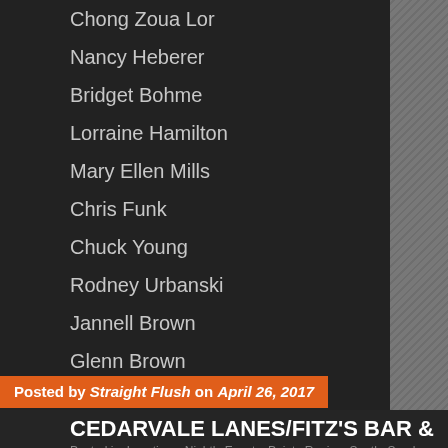Chong Zoua Lor
Nancy Heberer
Bridget Bohme
Lorraine Hamilton
Mary Ellen Mills
Chris Funk
Chuck Young
Rodney Urbanski
Jannell Brown
Glenn Brown
Curtis Petersen
Shawn Eman
Nic McBride
Mike Menth
Marcus O
Jane Neuburger
Posted by Straight Flush on April 26, 2017
CEDARVALE LANES/FITZ'S BAR &
Posted in: Locations, Nightly Events, Points Region, South, Spades Region